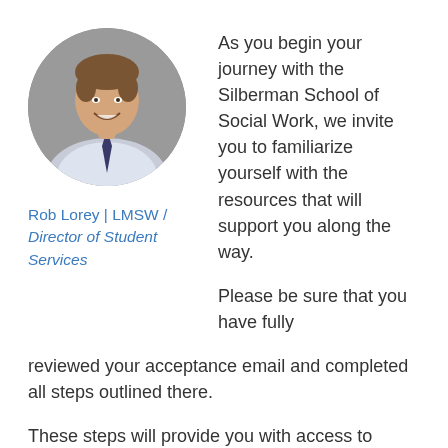[Figure (photo): Circular headshot photo of Rob Lorey, a smiling man in a striped shirt and dark tie, against a gray background.]
Rob Lorey | LMSW / Director of Student Services
As you begin your journey with the Silberman School of Social Work, we invite you to familiarize yourself with the resources that will support you along the way.
Please be sure that you have fully reviewed your acceptance email and completed all steps outlined there.
These steps will provide you with access to